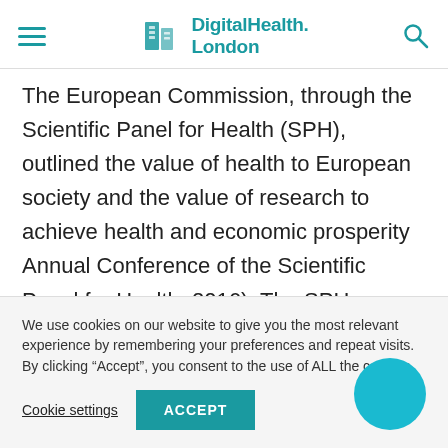Digital Health. London
The European Commission, through the Scientific Panel for Health (SPH), outlined the value of health to European society and the value of research to achieve health and economic prosperity Annual Conference of the Scientific Panel for Health, 2016). The SPH identified a number of challenges and opportunities for Europe that demand a new research and innovation framework and
We use cookies on our website to give you the most relevant experience by remembering your preferences and repeat visits. By clicking “Accept”, you consent to the use of ALL the cookies.
Cookie settings ACCEPT